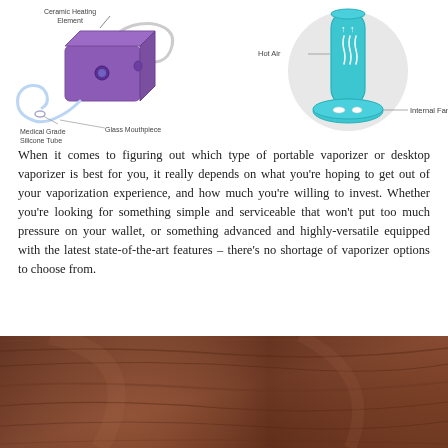[Figure (illustration): Two vaporizer diagrams side by side. Left: a purple box-shaped desktop vaporizer with labels 'Ceramic Heating Element', 'Medical Grade Silicone Tube', and 'Glass Mouthpiece'. Right: a teal/blue pen-style portable vaporizer with labels 'Hot Air' and 'Internal Fan', shown with a circular background.]
When it comes to figuring out which type of portable vaporizer or desktop vaporizer is best for you, it really depends on what you're hoping to get out of your vaporization experience, and how much you're willing to invest. Whether you're looking for something simple and serviceable that won't put too much pressure on your wallet, or something advanced and highly-versatile equipped with the latest state-of-the-art features – there's no shortage of vaporizer options to choose from.
[Figure (photo): A close-up photo of what appears to be a dark reddish-brown wooden or natural textured surface, filling the bottom portion of the page.]